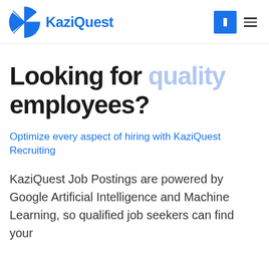KaziQuest
Looking for quality employees?
Optimize every aspect of hiring with KaziQuest Recruiting
KaziQuest Job Postings are powered by Google Artificial Intelligence and Machine Learning, so qualified job seekers can find your